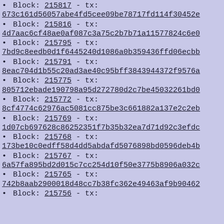Block: 215817 - tx: 673c161d56057abe4fd5cee09be78717fd114f30452e
Block: 215816 - tx: 4d7aac6cf48ae0af087c3a75c2b7b71a11577824c6e0
Block: 215795 - tx: 7bd9c8eedb0d1f6445240d1086a0b359436ffd06ecbb
Block: 215791 - tx: 8eac704d1b55c20ad3ae40c95bff3843944372f9576a
Block: 215775 - tx: 805712ebade190798a95d272780d2c7be45032261bd0
Block: 215772 - tx: 8cf4774c62976ac5081cc875be3c661882a137e2c2eb
Block: 215769 - tx: 1d07cb697628c86252351f7b35b32ea7d71d92c3efdc
Block: 215768 - tx: 173be10c0edff58d4dd5abdafd5076898bd0596deb4b
Block: 215767 - tx: 6a57fa895bd2d015c7cc254d10f50e3775b8906a032c
Block: 215765 - tx: 742b8aab2900018d48cc7b38fc362e49463af9b90462
Block: 215756 - tx: